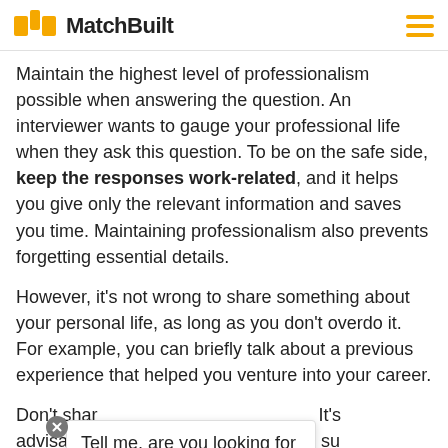MatchBuilt
Maintain the highest level of professionalism possible when answering the question. An interviewer wants to gauge your professional life when they ask this question. To be on the safe side, keep the responses work-related, and it helps you give only the relevant information and saves you time. Maintaining professionalism also prevents forgetting essential details.
However, it's not wrong to share something about your personal life, as long as you don't overdo it. For example, you can briefly talk about a previous experience that helped you venture into your career.
Don't share... It's advisable to av... su... family issues a... s... topics can raise some red flags about you. Additionally,
Tell me, are you looking for a new job or looking to hire great employees?